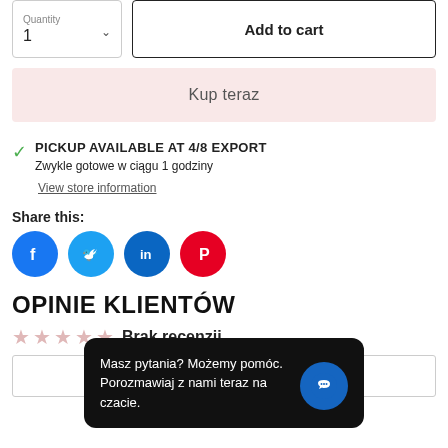Quantity 1
Add to cart
Kup teraz
PICKUP AVAILABLE AT 4/8 EXPORT
Zwykle gotowe w ciągu 1 godziny
View store information
Share this:
[Figure (illustration): Social media share icons: Facebook, Twitter, LinkedIn, Pinterest]
OPINIE KLIENTÓW
Brak recenzji
Masz pytania? Możemy pomóc.
Porozmawiaj z nami teraz na czacie.